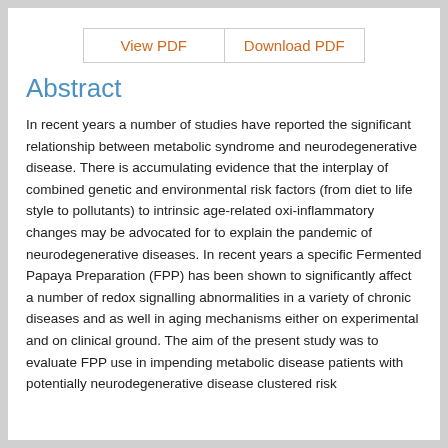[Figure (other): Two buttons labeled 'View PDF' and 'Download PDF' in orange text on white background with border]
Abstract
In recent years a number of studies have reported the significant relationship between metabolic syndrome and neurodegenerative disease. There is accumulating evidence that the interplay of combined genetic and environmental risk factors (from diet to life style to pollutants) to intrinsic age-related oxi-inflammatory changes may be advocated for to explain the pandemic of neurodegenerative diseases. In recent years a specific Fermented Papaya Preparation (FPP) has been shown to significantly affect a number of redox signalling abnormalities in a variety of chronic diseases and as well in aging mechanisms either on experimental and on clinical ground. The aim of the present study was to evaluate FPP use in impending metabolic disease patients with potentially neurodegenerative disease clustered risk